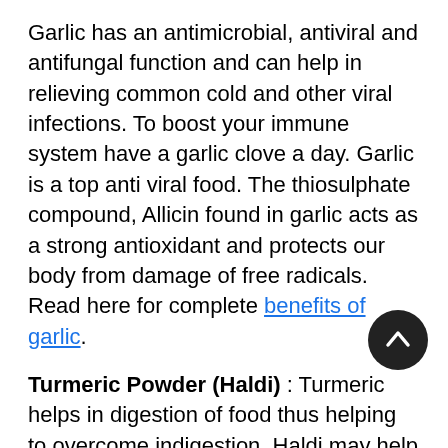Garlic has an antimicrobial, antiviral and antifungal function and can help in relieving common cold and other viral infections. To boost your immune system have a garlic clove a day. Garlic is a top anti viral food. The thiosulphate compound, Allicin found in garlic acts as a strong antioxidant and protects our body from damage of free radicals.  Read here for complete benefits of garlic.
Turmeric Powder (Haldi) : Turmeric helps in digestion of food thus helping to overcome indigestion. Haldi may help in reducing the growth of fat cells in the body. Turmeric, being rich in iron, is highly valuable in the treatment of anaemia and both the root as well as the powder should be a regular part of an